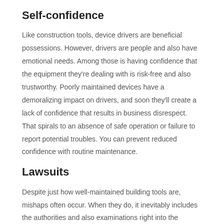Self-confidence
Like construction tools, device drivers are beneficial possessions. However, drivers are people and also have emotional needs. Among those is having confidence that the equipment they're dealing with is risk-free and also trustworthy. Poorly maintained devices have a demoralizing impact on drivers, and soon they'll create a lack of confidence that results in business disrespect. That spirals to an absence of safe operation or failure to report potential troubles. You can prevent reduced confidence with routine maintenance.
Lawsuits
Despite just how well-maintained building tools are, mishaps often occur. When they do, it inevitably includes the authorities and also examinations right into the reason.